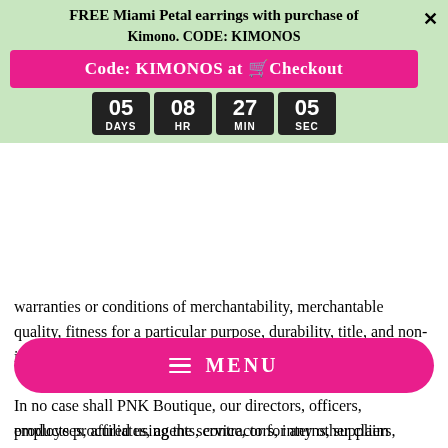service is at your sole risk. The service and all products and services delivered to you through the service are (except as expressly stated by us) provided 'as is' and 'as available' for your use, without any representation, warranties or conditions of any kind, either express or implied, including all implied
[Figure (infographic): Green promotional banner overlay with title 'FREE Miami Petal earrings with purchase of Kimono. CODE: KIMONOS', pink button reading 'Code: KIMONOS at Checkout', and countdown timer showing 05 DAYS 08 HR 27 MIN 05 SEC, with X close button]
warranties or conditions of merchantability, merchantable quality, fitness for a particular purpose, durability, title, and non-infringement.
In no case shall PNK Boutique, our directors, officers, employees, affiliates, agents, contractors, interns, suppliers, service providers or licensors be liable for any injury, loss, claim, or any direct, indirect, incidental, punitive, special, or consequential damages of any kind, including, without limitation lost profits, lost revenue, lost savings, loss of data, replacement costs, or any similar damages, whether based in
[Figure (infographic): Pink rounded pill-shaped MENU button with hamburger icon lines]
products procured using the service, or for any other claim